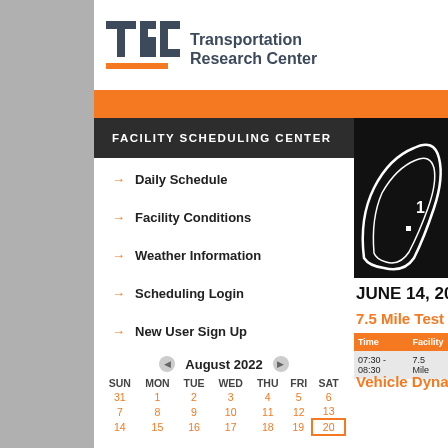[Figure (logo): TRC Transportation Research Center logo with orange underline and gray text name]
FACILITY SCHEDULING CENTER
Daily Schedule
Facility Conditions
Weather Information
Scheduling Login
New User Sign Up
[Figure (other): August 2022 calendar with dates in orange, day headers SUN MON TUE WED THU FRI SAT]
[Figure (photo): Black background track map diagram showing white outline of test track]
JUNE 14, 2022 S
7.5 Mile Test Tra
| Time | Facility |
| --- | --- |
| 07:30 - 08:30 | 7.5 Mile |
Vehicle Dynami